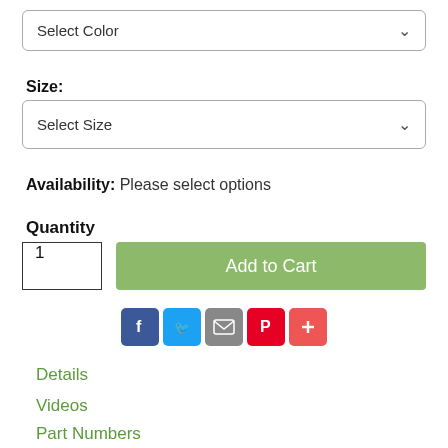[Figure (screenshot): Select Color dropdown box with chevron]
Size:
[Figure (screenshot): Select Size dropdown box with chevron]
Availability: Please select options
Quantity
[Figure (screenshot): Quantity input box showing 1 and Add to Cart green button]
[Figure (screenshot): Social sharing icons: Facebook, Twitter, Email, Pinterest, Plus]
Details
Videos
Part Numbers